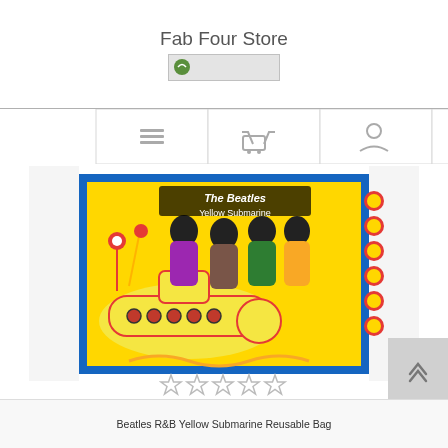Fab Four Store
[Figure (screenshot): Navigation bar with icons: hamburger menu, shopping basket, user/account, and search icons]
[Figure (photo): The Beatles Yellow Submarine tote bag with yellow submarine artwork and The Beatles characters]
[Figure (other): Five star rating icons (empty stars)]
Beatles R&B Yellow Submarine Reusable Bag